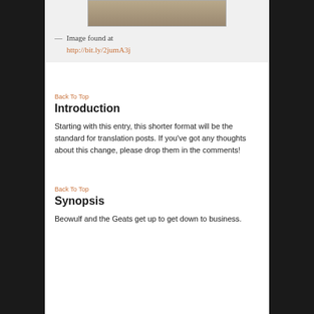[Figure (illustration): Partial view of an old illustration or woodcut image at top of page]
— Image found at http://bit.ly/2jumA3j
Back To Top
Introduction
Starting with this entry, this shorter format will be the standard for translation posts. If you’ve got any thoughts about this change, please drop them in the comments!
Back To Top
Synopsis
Beowulf and the Geats get up to get down to business.